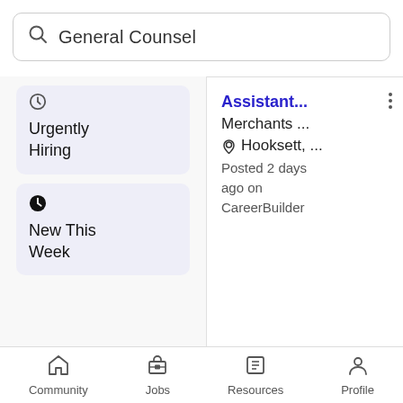General Counsel
Urgently Hiring
New This Week
Assistant...
Merchants ...
Hooksett, ...
Posted 2 days ago on CareerBuilder
Community  Jobs  Resources  Profile